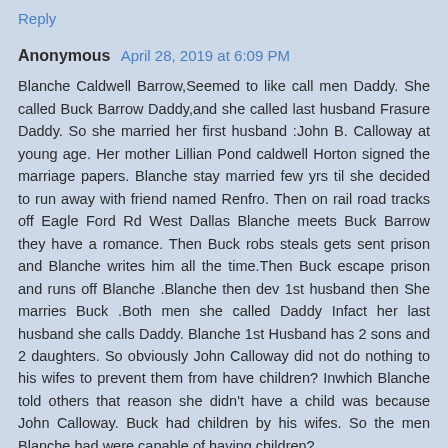Reply
Anonymous  April 28, 2019 at 6:09 PM
Blanche Caldwell Barrow,Seemed to like call men Daddy. She called Buck Barrow Daddy,and she called last husband Frasure Daddy. So she married her first husband :John B. Calloway at young age. Her mother Lillian Pond caldwell Horton signed the marriage papers. Blanche stay married few yrs til she decided to run away with friend named Renfro. Then on rail road tracks off Eagle Ford Rd West Dallas Blanche meets Buck Barrow they have a romance. Then Buck robs steals gets sent prison and Blanche writes him all the time.Then Buck escape prison and runs off Blanche .Blanche then dev 1st husband then She marries Buck .Both men she called Daddy Infact her last husband she calls Daddy. Blanche 1st Husband has 2 sons and 2 daughters. So obviously John Calloway did not do nothing to his wifes to prevent them from have children? Inwhich Blanche told others that reason she didn't have a child was because John Calloway. Buck had children by his wifes. So the men Blanche had were capable of having children?